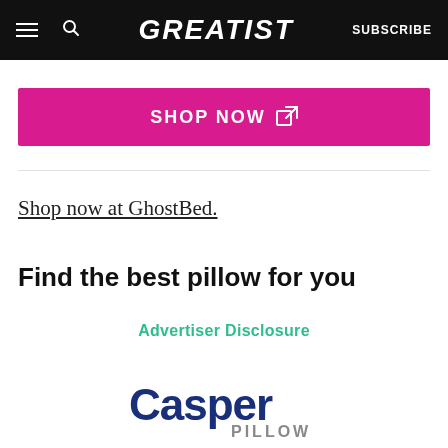GREATIST | SUBSCRIBE
[Figure (other): Pink 'SHOP NOW' button with external link icon]
Shop now at GhostBed.
Find the best pillow for you
Advertiser Disclosure
[Figure (logo): Casper Pillow logo — 'Casper' in dark blue and 'PILLOW' in gray below]